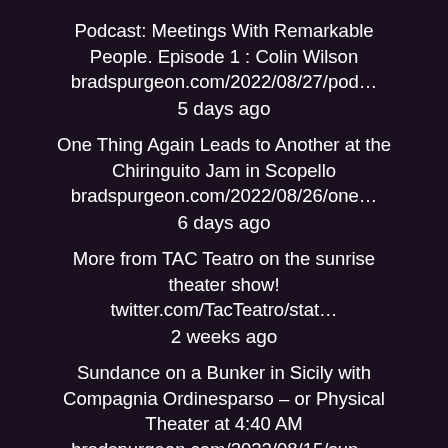Podcast: Meetings With Remarkable People. Episode 1 : Colin Wilson
bradspurgeon.com/2022/08/27/pod…
5 days ago
One Thing Again Leads to Another at the Chiringuito Jam in Scopello
bradspurgeon.com/2022/08/26/one…
6 days ago
More from TAC Teatro on the sunrise theater show!
twitter.com/TacTeatro/stat…
2 weeks ago
Sundance on a Bunker in Sicily with Compagnia Ordinesparso – or Physical Theater at 4:40 AM
bradspurgeon.com/2022/08/15/sun…
3 weeks ago